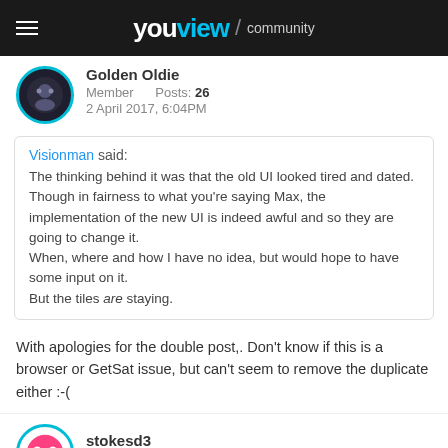youview / community
Golden Oldie
Member   Posts: 26
2 April 2017, 6:04PM
Visionman said:
The thinking behind it was that the old UI looked tired and dated. Though in fairness to what you're saying Max, the implementation of the new UI is indeed awful and so they are going to change it.
When, where and how I have no idea, but would hope to have some input on it.
But the tiles are staying.
With apologies for the double post,. Don't know if this is a browser or GetSat issue, but can't seem to remove the duplicate either :-(
stokesd3
Member   Posts: 107